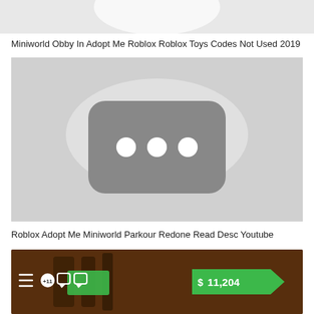[Figure (screenshot): Partial top image showing a white/light gray object on light background, partially cropped]
Miniworld Obby In Adopt Me Roblox Roblox Toys Codes Not Used 2019
[Figure (screenshot): YouTube video thumbnail placeholder showing a gray YouTube play button icon on a light gray background]
Roblox Adopt Me Miniworld Parkour Redone Read Desc Youtube
[Figure (screenshot): Partial screenshot of a Roblox game with brown/dark background, toolbar icons on left (hamburger menu, +11 badge, chat icons), and a green money tag showing $11,204 on the right]